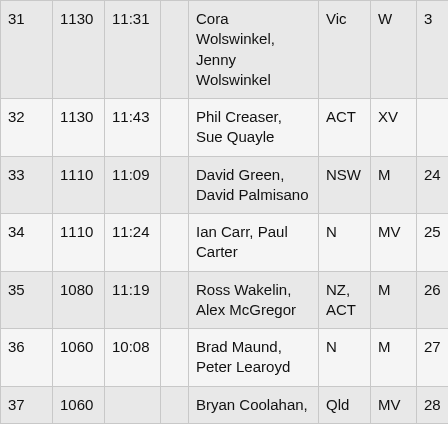| 31 | 1130 | 11:31 |  | Cora Wolswinkel, Jenny Wolswinkel | Vic | W | 3 |
| 32 | 1130 | 11:43 |  | Phil Creaser, Sue Quayle | ACT | XV |  |
| 33 | 1110 | 11:09 |  | David Green, David Palmisano | NSW | M | 24 |
| 34 | 1110 | 11:24 |  | Ian Carr, Paul Carter | N | MV | 25 |
| 35 | 1080 | 11:19 |  | Ross Wakelin, Alex McGregor | NZ, ACT | M | 26 |
| 36 | 1060 | 10:08 |  | Brad Maund, Peter Learoyd | N | M | 27 |
| 37 | 1060 |  |  | Bryan Coolahan, | Qld | MV | 28 |